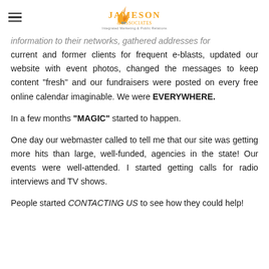Jameson & Associates — Integrated Marketing & Public Relations
information to their networks, gathered addresses for current and former clients for frequent e-blasts, updated our website with event photos, changed the messages to keep content "fresh" and our fundraisers were posted on every free online calendar imaginable. We were EVERYWHERE.
In a few months “MAGIC” started to happen.
One day our webmaster called to tell me that our site was getting more hits than large, well-funded, agencies in the state! Our events were well-attended. I started getting calls for radio interviews and TV shows.
People started CONTACTING US to see how they could help!